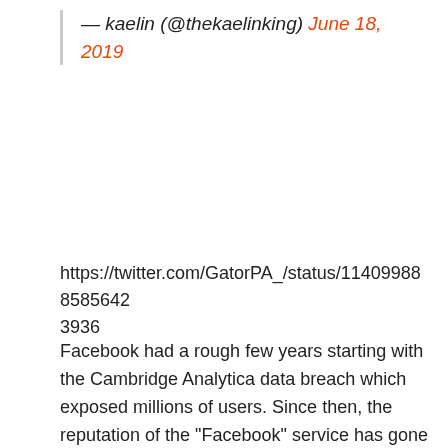— kaelin (@thekaelinking) June 18, 2019
https://twitter.com/GatorPA_/status/11409988885856423936
Facebook had a rough few years starting with the Cambridge Analytica data breach which exposed millions of users. Since then, the reputation of the “Facebook” service has gone down drastically with many longtime users deleting their accounts and also starting a #DeleteFacebook trend on Twitter. Adding to that, former Facebook executives have also voiced their concerns against the company which keeps growing at a rapid pace.